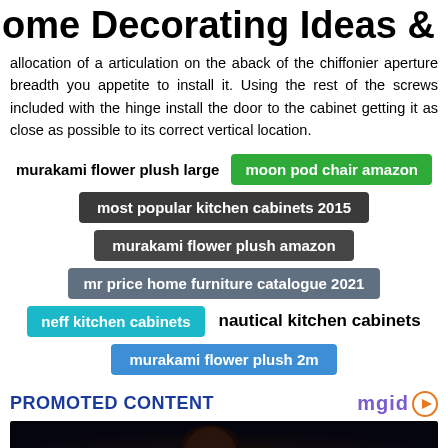ome Decorating Ideas & Interior Des
allocation of a articulation on the aback of the chiffonier aperture breadth you appetite to install it. Using the rest of the screws included with the hinge install the door to the cabinet getting it as close as possible to its correct vertical location.
murakami flower plush large
moon pod chair amazon
most popular kitchen cabinets 2015
murakami flower plush amazon
mr price home furniture catalogue 2021
neff kitchen cabinets
nautical kitchen cabinets
murakami flower plush 2m
PROMOTED CONTENT
[Figure (photo): Dark background promotional image showing a person with a red headband, partial view]